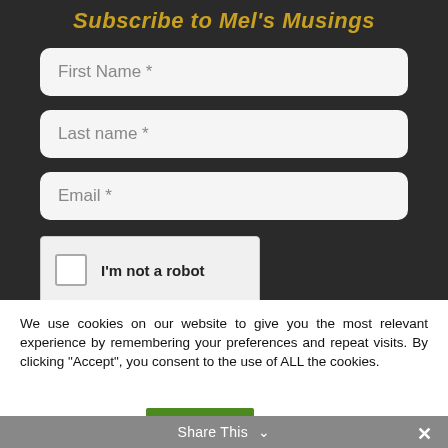Subscribe to Mel's Musings
First Name *
Last name *
Email *
I'm not a robot
We use cookies on our website to give you the most relevant experience by remembering your preferences and repeat visits. By clicking “Accept”, you consent to the use of ALL the cookies.
Cookie settings
ACCEPT
Share This ∨ ×